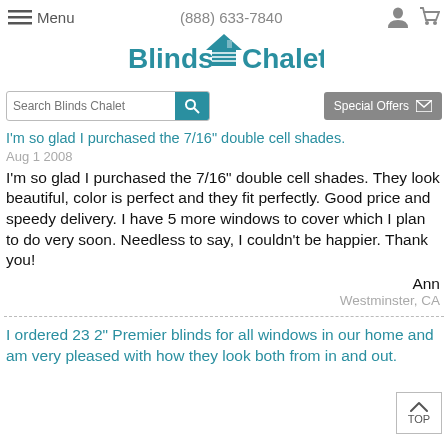Menu | (888) 633-7840
[Figure (logo): Blinds Chalet logo with house/blinds icon]
[Figure (screenshot): Search bar with 'Search Blinds Chalet' placeholder and teal search button; Special Offers button with mail icon]
I'm so glad I purchased the 7/16" double cell shades.
Aug 1 2008
I'm so glad I purchased the 7/16" double cell shades. They look beautiful, color is perfect and they fit perfectly. Good price and speedy delivery. I have 5 more windows to cover which I plan to do very soon. Needless to say, I couldn't be happier. Thank you!
Ann
Westminster, CA
I ordered 23 2" Premier blinds for all windows in our home and am very pleased with how they look both from in and out.